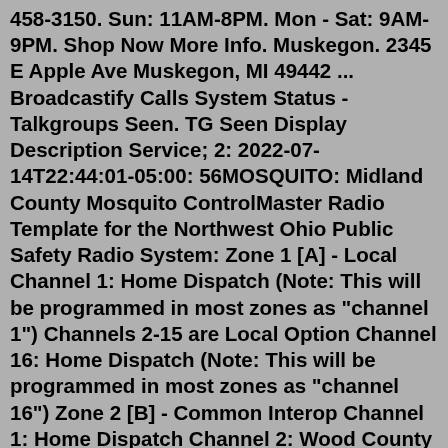458-3150. Sun: 11AM-8PM. Mon - Sat: 9AM-9PM. Shop Now More Info. Muskegon. 2345 E Apple Ave Muskegon, MI 49442 ... Broadcastify Calls System Status - Talkgroups Seen. TG Seen Display Description Service; 2: 2022-07-14T22:44:01-05:00: 56MOSQUITO: Midland County Mosquito ControlMaster Radio Template for the Northwest Ohio Public Safety Radio System: Zone 1 [A] - Local Channel 1: Home Dispatch (Note: This will be programmed in most zones as "channel 1") Channels 2-15 are Local Option Channel 16: Home Dispatch (Note: This will be programmed in most zones as "channel 16") Zone 2 [B] - Common Interop Channel 1: Home Dispatch Channel 2: Wood County Interop Channel 3: LCSO ... URB Cannabis Vassar 124 N Waters St. Vassar, MI 48768 (989) 882-9009. Monday-Saturday 9AM - 9PM . Sunday 10AM - 8PM 989 East Main Street Morenci, MI 49256 Directions. Contact Info Phone. Main : 517-458-3800. Curbside : 517-798-6803. Email. stateline@pharmacoinc.com. Social Media. Instagram: remediistateline. Facebook: